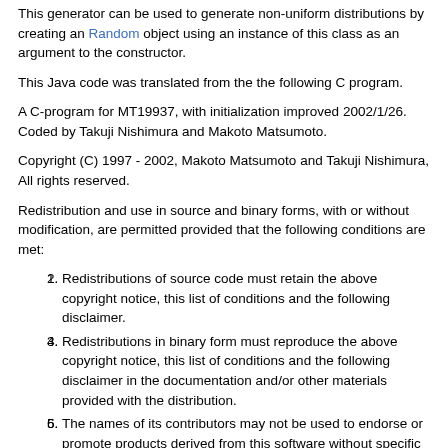This generator can be used to generate non-uniform distributions by creating an Random object using an instance of this class as an argument to the constructor.
This Java code was translated from the the following C program.
A C-program for MT19937, with initialization improved 2002/1/26. Coded by Takuji Nishimura and Makoto Matsumoto.
Copyright (C) 1997 - 2002, Makoto Matsumoto and Takuji Nishimura, All rights reserved.
Redistribution and use in source and binary forms, with or without modification, are permitted provided that the following conditions are met:
Redistributions of source code must retain the above copyright notice, this list of conditions and the following disclaimer.
Redistributions in binary form must reproduce the above copyright notice, this list of conditions and the following disclaimer in the documentation and/or other materials provided with the distribution.
The names of its contributors may not be used to endorse or promote products derived from this software without specific prior written permission.
THIS SOFTWARE IS PROVIDED BY THE COPYRIGHT HOLDERS AND CONTRIBUTORS "AS IS" AND ANY EXPRESS OR IMPLIED WARRANTIES, INCLUDING, BUT NOT LIMITED TO, THE IMPLIED WARRANTIES OF MERCHANTABILITY AND FITNESS FOR A PARTICULAR PURPOSE ARE DISCLAIMED. IN NO EVENT SHALL THE COPYRIGHT OWNER OR CONTRIBUTORS BE LIABLE FOR ANY DIRECT, INDIRECT, INCIDENTAL, SPECIAL, EXEMPLARY, OR CONSEQUENTIAL DAMAGES (INCLUDING, BUT NOT LIMITED TO,